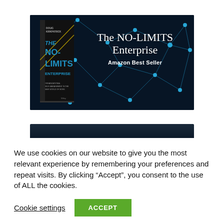[Figure (illustration): Book cover banner for 'The NO-LIMITS Enterprise' by Doug Kirkpatrick, showing the book cover on a dark blue network/connection node background. Text reads 'The NO-LIMITS Enterprise' and 'Amazon Best Seller'.]
We use cookies on our website to give you the most relevant experience by remembering your preferences and repeat visits. By clicking “Accept”, you consent to the use of ALL the cookies.
Cookie settings
ACCEPT